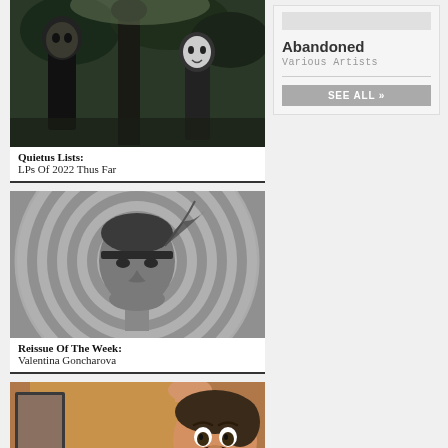[Figure (photo): Black and white photo of figures in a wooded or garden setting with masks or costumes]
Quietus Lists:
LPs Of 2022 Thus Far
[Figure (photo): Black and white photo of a woman with a headband in front of concentric circles background]
Reissue Of The Week:
Valentina Goncharova
[Figure (photo): Color photo of a woman with short hair peeking around a door with a surprised expression]
The Full Party
Abandoned
Various Artists
SEE ALL »